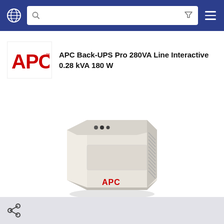Navigation bar with globe icon, search box, filter icon, and hamburger menu
[Figure (logo): APC brand logo in red text]
APC Back-UPS Pro 280VA Line Interactive 0.28 kVA 180 W
[Figure (photo): APC Back-UPS Pro 280VA unit - beige/cream colored UPS device with ventilation slots on side, indicator lights and connectors on front panel, APC logo in red on front]
👍 (0)
Share
Search similar products
Add to compare
Share footer bar